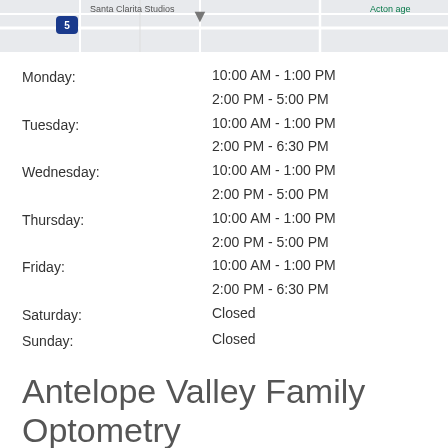[Figure (map): Partial map showing roads and an interstate 5 shield marker, with a location pin and partial text labels including 'Santa Clarita Studios' and a green label partially visible at top right]
Monday: 10:00 AM - 1:00 PM / 2:00 PM - 5:00 PM
Tuesday: 10:00 AM - 1:00 PM / 2:00 PM - 6:30 PM
Wednesday: 10:00 AM - 1:00 PM / 2:00 PM - 5:00 PM
Thursday: 10:00 AM - 1:00 PM / 2:00 PM - 5:00 PM
Friday: 10:00 AM - 1:00 PM / 2:00 PM - 6:30 PM
Saturday: Closed
Sunday: Closed
Antelope Valley Family Optometry
Phone:
661-267-0026